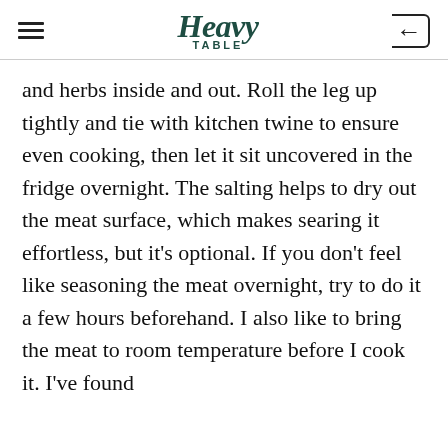Heavy Table
and herbs inside and out. Roll the leg up tightly and tie with kitchen twine to ensure even cooking, then let it sit uncovered in the fridge overnight. The salting helps to dry out the meat surface, which makes searing it effortless, but it's optional. If you don't feel like seasoning the meat overnight, try to do it a few hours beforehand. I also like to bring the meat to room temperature before I cook it. I've found